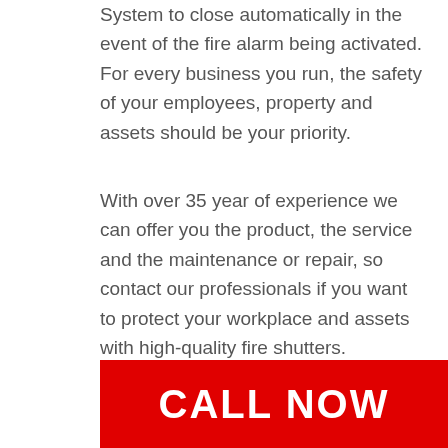System to close automatically in the event of the fire alarm being activated. For every business you run, the safety of your employees, property and assets should be your priority.
With over 35 year of experience we can offer you the product, the service and the maintenance or repair, so contact our professionals if you want to protect your workplace and assets with high-quality fire shutters.
CALL NOW